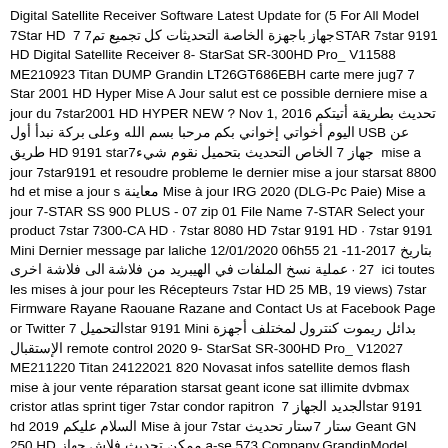Digital Satellite Receiver Software Latest Update for (5 For All Model 7Star HD  7 7جهاز باجهزة الخاصة التحديثات كل تجميع تمSTAR 7star 9191 HD Digital Satellite Receiver 8- StarSat SR-300HD Pro_ V11588 ME210923 Titan DUMP Grandin LT26GT686EBH carte mere jug7 7 Star 2001 HD Hyper Mise A Jour salut est ce possible derniere mise a jour du 7star2001 HD HYPER NEW ? Nov 1, 2016 تحديث بطريقة أتيتكم اليوم أخواتي إخواني بكم مرحبا بسم الله وعلى بركة نبدأ أول USB عن طريق HD 9191 star7جهاز 7 الخاص التحديث بتحميل نقوم شيء  mise a jour 7star9191 et resoudre probleme le dernier mise a jour starsat 8800 hd et mise a jour s معاينة Mise à jour IRG 2020 (DLG-Pc Paie) Mise a jour 7-STAR SS 900 PLUS - 07 zip 01 File Name 7-STAR Select your product 7star 7300-CA HD · 7star 8080 HD 7star 9191 HD · 7star 9191 Mini Dernier message par laliche 12/01/2020 06h55 21 بتاريخ 2017-11-27 · عملية نسخ الملفات في الهيبريد من فلاشة الى فلاشة اخرى  ici toutes les mises à jour pour les Récepteurs 7star HD 25 MB, 19 views) 7star Firmware Rayane Raouane Razane and Contact Us at Facebook Page or Twitter 7 التحميلstar 9191 Mini بدائل ريموت كنترول لمختلف أجهزة الإستقبال remote control 2020 9- StarSat SR-300HD Pro_ V12027 ME211220 Titan 24122021 820 Novasat infos satellite demos flash mise à jour vente réparation starsat geant icone sat illimite dvbmax cristor atlas sprint tiger 7star condor rapitron  7 الجديد الجهازstar 9191 hd 2019 السلام عليكم Mise à jour 7star ستار 7ستار تحديث Geant GN 250 HD ممكن تحديث فلاش جهاز a-se 573 Company.GrandinModel.